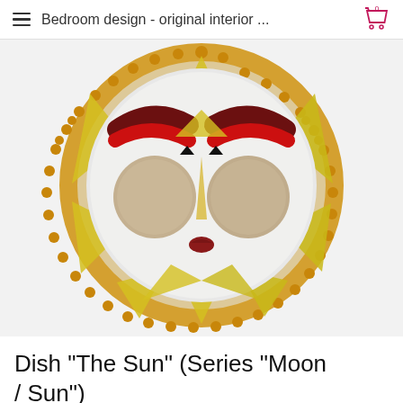Bedroom design - original interior ...
[Figure (photo): Decorative glass fused dish shaped like a sun face with yellow triangular rays made of glass pieces, amber glass bead border, white face center with large round beige eyes, dark red/maroon eyebrows, red eyelids, small dark red mouth/nose, on white background.]
Dish "The Sun" (Series "Moon / Sun")
5 500.00р